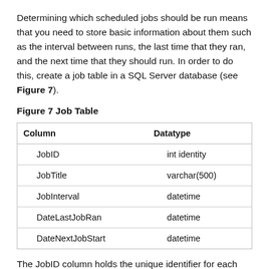Determining which scheduled jobs should be run means that you need to store basic information about them such as the interval between runs, the last time that they ran, and the next time that they should run. In order to do this, create a job table in a SQL Server database (see Figure 7).
Figure 7 Job Table
| Column | Datatype |
| --- | --- |
| JobID | int identity |
| JobTitle | varchar(500) |
| JobInterval | datetime |
| DateLastJobRan | datetime |
| DateNextJobStart | datetime |
The JobID column holds the unique identifier for each job in